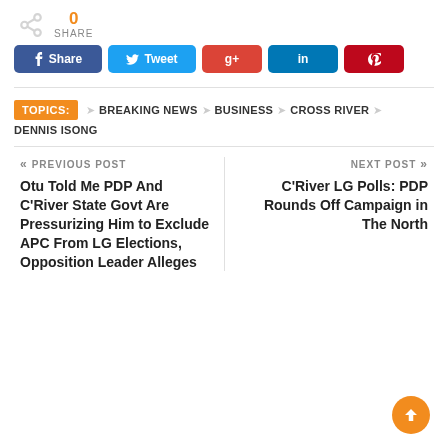[Figure (infographic): Share count display showing 0 with a share icon]
[Figure (infographic): Social sharing buttons: Facebook Share, Twitter Tweet, Google+, LinkedIn, Pinterest]
TOPICS: BREAKING NEWS  BUSINESS  CROSS RIVER  DENNIS ISONG
« PREVIOUS POST
Otu Told Me PDP And C'River State Govt Are Pressurizing Him to Exclude APC From LG Elections, Opposition Leader Alleges
NEXT POST »
C'River LG Polls: PDP Rounds Off Campaign in The North